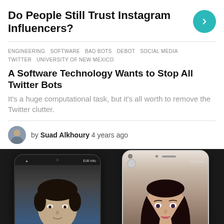Do People Still Trust Instagram Influencers?
ENGINEERING   SOFTWARE   BAD BOTS   DEBOT   SOCIAL MEDIA   TWITTER   UNIVERSITY OF NEW MEXICO
A Software Technology Wants to Stop All Twitter Bots
It's a huge computational task, but it's all worth to remove the Twitter clutter.
by Suad Alkhoury 4 years ago
[Figure (photo): Two smartphones side by side showing dating app profiles. Left phone (dark/black) shows a young man named Brian, 22. Right phone (white/light) shows a young woman named Briana, 22.]